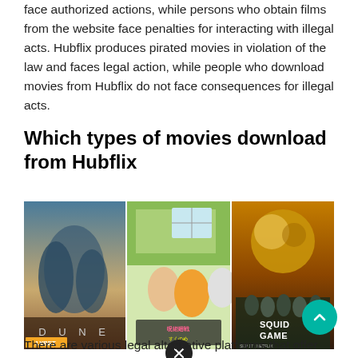face authorized actions, while persons who obtain films from the website face penalties for interacting with illegal acts. Hubflix produces pirated movies in violation of the law and faces legal action, while people who download movies from Hubflix do not face consequences for illegal acts.
Which types of movies download from Hubflix
[Figure (photo): Three movie thumbnails side by side: Dune (live action film poster with characters), an anime movie screenshot with characters in a room, and Squid Game Netflix series poster. A teal scroll-to-top button overlaps the right image. A close button (X) appears below the grid.]
There are various legal alternative platforms that offer different